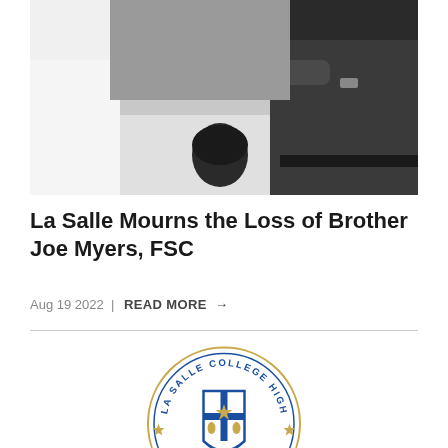[Figure (photo): Black and white photograph of two people exchanging books or papers across a surface, with a person seated in the middle background.]
La Salle Mourns the Loss of Brother Joe Myers, FSC
Aug 19 2022 | READ MORE →
[Figure (logo): La Salle College High School circular seal/logo with blue and white shield bearing a cross and star, surrounded by text reading 'LA SALLE COLLEGE HIGH SCHOOL' with decorative border.]